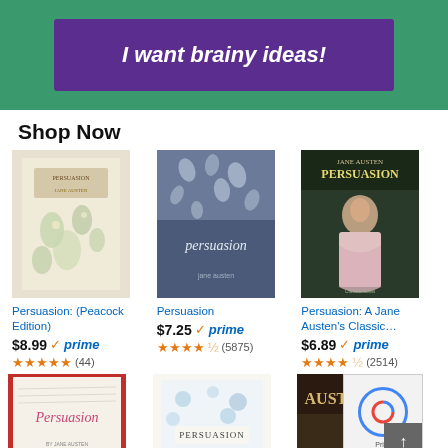[Figure (screenshot): Green banner with purple button saying 'I want brainy ideas!']
Shop Now
[Figure (illustration): Book cover: Persuasion (Peacock Edition) by Jane Austen — floral/bird pattern]
Persuasion: (Peacock Edition)
$8.99 prime (44)
[Figure (illustration): Book cover: Persuasion by Jane Austen — blue with leaf pattern]
Persuasion
$7.25 prime (5875)
[Figure (illustration): Book cover: Persuasion A Jane Austen's Classic — woman in period dress]
Persuasion: A Jane Austen's Classic…
$6.89 prime (2514)
[Figure (illustration): Three more book covers of Persuasion partially visible in bottom row]
[Figure (screenshot): reCAPTCHA overlay in bottom right corner]